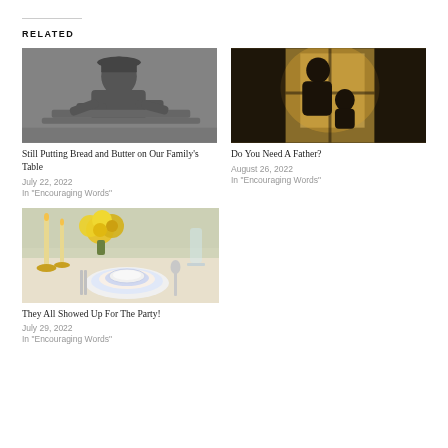RELATED
[Figure (photo): Black and white photo of a man working, leaning over a surface]
Still Putting Bread and Butter on Our Family's Table
July 22, 2022
In "Encouraging Words"
[Figure (photo): Silhouetted figure of adult and child by a window with warm backlight]
Do You Need A Father?
August 26, 2022
In "Encouraging Words"
[Figure (photo): Table setting with yellow roses, blue and white china plates, candles, and silverware]
They All Showed Up For The Party!
July 29, 2022
In "Encouraging Words"